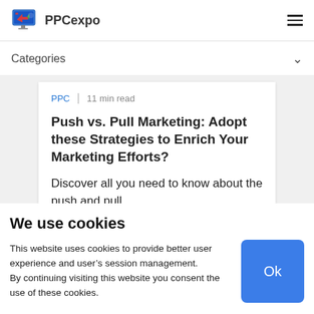PPCexpo
Categories
PPC | 11 min read
Push vs. Pull Marketing: Adopt these Strategies to Enrich Your Marketing Efforts?
Discover all you need to know about the push and pull
We use cookies
This website uses cookies to provide better user experience and user's session management. By continuing visiting this website you consent the use of these cookies.